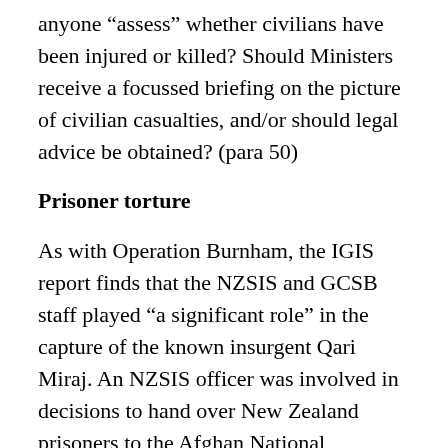anyone “assess” whether civilians have been injured or killed? Should Ministers receive a focussed briefing on the picture of civilian casualties, and/or should legal advice be obtained? (para 50)
Prisoner torture
As with Operation Burnham, the IGIS report finds that the NZSIS and GCSB staff played “a significant role” in the capture of the known insurgent Qari Miraj. An NZSIS officer was involved in decisions to hand over New Zealand prisoners to the Afghan National Directorate of Security (NDS). Two weeks later NZSIS “released a report of a confession made by Miraj… which had been ‘officially passed to NZSIS by a senior NDS Officer’…. Management within the NZSIS and the GCSB raised no questions about the conditions under which the